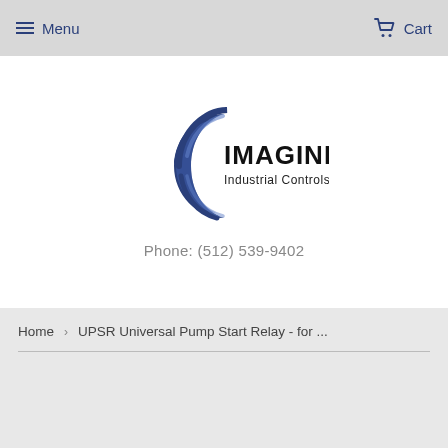Menu   Cart
[Figure (logo): Imagine Industrial Controls .com logo with blue swirl graphic]
Phone: (512) 539-9402
Home  >  UPSR Universal Pump Start Relay - for ...